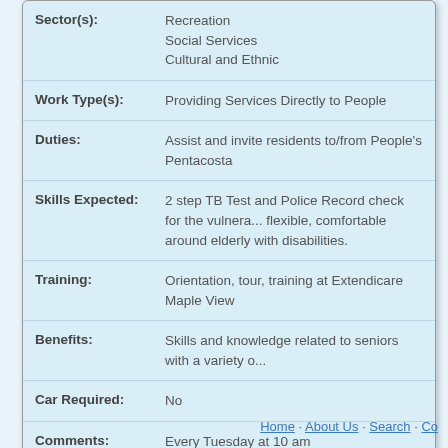| Field | Value |
| --- | --- |
| Sector(s): | Recreation
Social Services
Cultural and Ethnic |
| Work Type(s): | Providing Services Directly to People |
| Duties: | Assist and invite residents to/from People's Pentacosta |
| Skills Expected: | 2 step TB Test and Police Record check for the vulnera... flexible, comfortable around elderly with disabilities. |
| Training: | Orientation, tour, training at Extendicare Maple View |
| Benefits: | Skills and knowledge related to seniors with a variety o... |
| Car Required: | No |
| Comments: | Every Tuesday at 10 am |
Home · About Us · Search · Co...